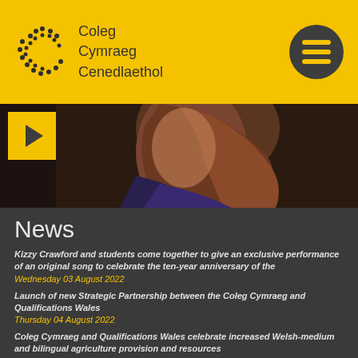[Figure (logo): Coleg Cymraeg Cenedlaethol logo with dotted C letterform in dark grey on yellow background, with hamburger menu button]
[Figure (photo): Partial close-up photo of a person with long brown hair, dark background, with yellow play button overlay in top-left corner]
News
Kizzy Crawford and students come together to give an exclusive performance of an original song to celebrate the ten-year anniversary of the
Wednesday 03 August 2022
Launch of new Strategic Partnership between the Coleg Cymraeg and Qualifications Wales
Thursday 04 August 2022
Coleg Cymraeg and Qualifications Wales celebrate increased Welsh-medium and bilingual agriculture provision and resources